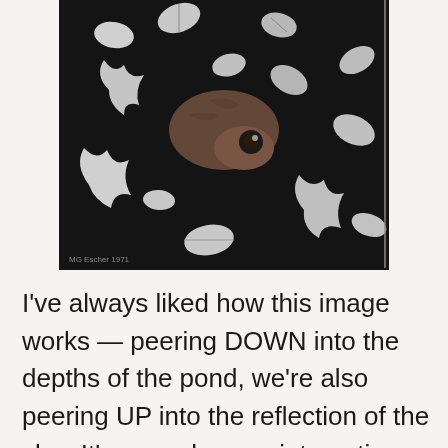[Figure (illustration): Black and white illustration/photograph of a fish or aquatic creature viewed from above in a pond, surrounded by fallen leaves (oak and other leaf shapes) on a dark water surface.]
I've always liked how this image works — peering DOWN into the depths of the pond, we're also peering UP into the reflection of the sky.  It's a much more interesting